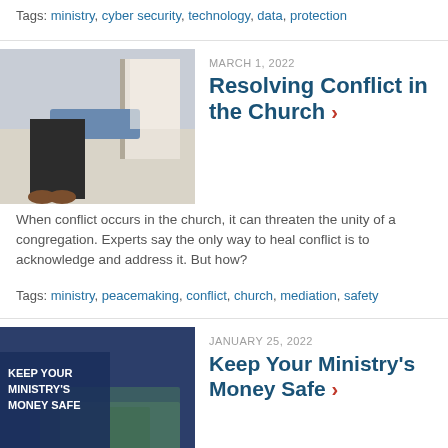Tags: ministry, cyber security, technology, data, protection
[Figure (photo): Person sitting in a hallway, seen from waist down, wearing brown shoes and dark trousers]
MARCH 1, 2022
Resolving Conflict in the Church ›
When conflict occurs in the church, it can threaten the unity of a congregation. Experts say the only way to heal conflict is to acknowledge and address it. But how?
Tags: ministry, peacemaking, conflict, church, mediation, safety
[Figure (photo): Blue background with text 'KEEP YOUR MINISTRY'S MONEY SAFE' overlaid on a background showing currency/money]
JANUARY 25, 2022
Keep Your Ministry's Money Safe ›
Theft isn't just an issue for banks and large companies. Sometimes the kind and caring nature of your ministry is exactly what makes you a target. Organizational Optional Theft Coverage helps to